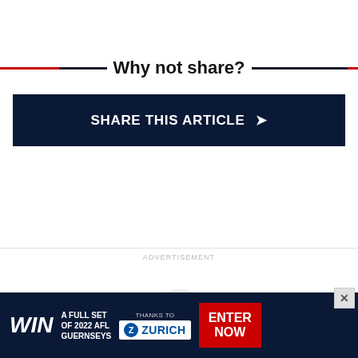Why not share?
SHARE THIS ARTICLE ➤
ADVERTISEMENT
[Figure (logo): AFL watermark logo in light gray]
[Figure (infographic): Bottom advertisement banner: WIN A FULL SET OF 2022 AFL GUERNSEYS, THANKS TO ZURICH, ENTER NOW]